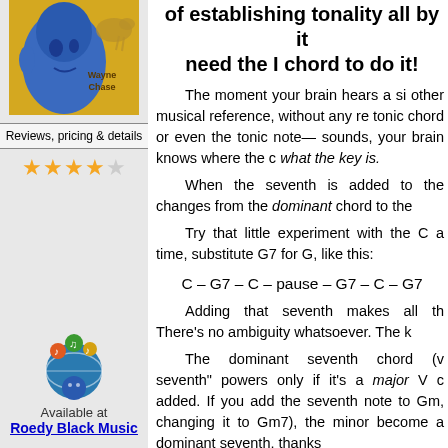[Figure (illustration): Book cover with blue face illustration and 'Wayne Chase' text on yellow background]
Reviews, pricing & details
★★★★☆ (4 out of 5 stars)
of establishing tonality all by it need the I chord to do it!
The moment your brain hears a si other musical reference, without any re tonic chord or even the tonic note— sounds, your brain knows where the c what the key is.
When the seventh is added to the changes from the dominant chord to the
Try that little experiment with the C a time, substitute G7 for G, like this:
C – G7 – C – pause – G7 – C – G7
Adding that seventh makes all th There's no ambiguity whatsoever. The k
The dominant seventh chord (v seventh" powers only if it's a major V c added. If you add the seventh note to Gm, changing it to Gm7), the minor become a dominant seventh, thanks
[Figure (logo): Roedy Black Music logo with colorful brain and musical notes illustration]
Available at
Roedy Black Music